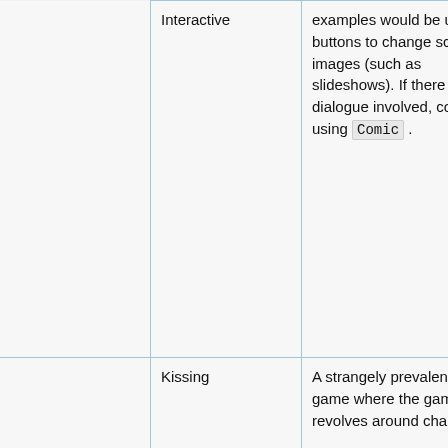|  |  | Description | Examples |
| --- | --- | --- | --- |
|  | Interactive | examples would be using buttons to change scenes or images (such as slideshows). If there is dialogue involved, consider using Comic . | Franny's Feet Home Menu |
|  | Kissing | A strangely prevalent type of game where the gameplay revolves around characters | Seaside Kissing |